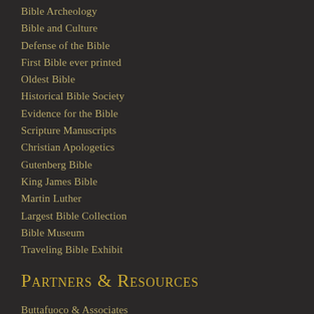Bible Archeology
Bible and Culture
Defense of the Bible
First Bible ever printed
Oldest Bible
Historical Bible Society
Evidence for the Bible
Scripture Manuscripts
Christian Apologetics
Gutenberg Bible
King James Bible
Martin Luther
Largest Bible Collection
Bible Museum
Traveling Bible Exhibit
Partners & Resources
Buttafuoco & Associates
New Canaan Society
Men's Discipleship Network
Pocket Testament League
Back to the Bible